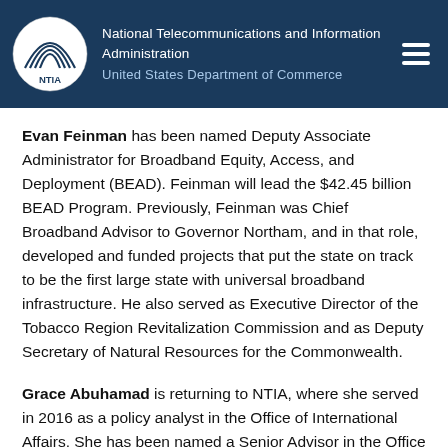National Telecommunications and Information Administration | United States Department of Commerce
Evan Feinman has been named Deputy Associate Administrator for Broadband Equity, Access, and Deployment (BEAD). Feinman will lead the $42.45 billion BEAD Program. Previously, Feinman was Chief Broadband Advisor to Governor Northam, and in that role, developed and funded projects that put the state on track to be the first large state with universal broadband infrastructure. He also served as Executive Director of the Tobacco Region Revitalization Commission and as Deputy Secretary of Natural Resources for the Commonwealth.
Grace Abuhamad is returning to NTIA, where she served in 2016 as a policy analyst in the Office of International Affairs. She has been named a Senior Advisor in the Office of the Assistant Secretary. Previously, Abuhamad managed the research program on trustworthiness at Element AI, an artificial intelligence company based in Montreal and acquired by ServiceNow in January 2021.
Sarah Morris has also been named Senior Advisor in the